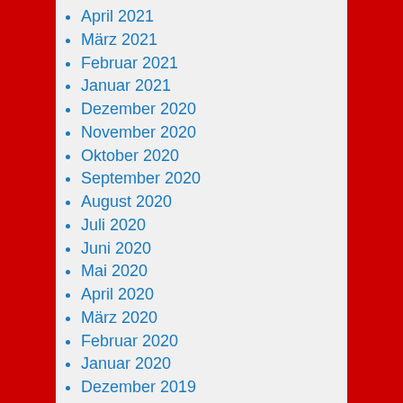April 2021
März 2021
Februar 2021
Januar 2021
Dezember 2020
November 2020
Oktober 2020
September 2020
August 2020
Juli 2020
Juni 2020
Mai 2020
April 2020
März 2020
Februar 2020
Januar 2020
Dezember 2019
November 2019
Oktober 2019
September 2019
August 2019